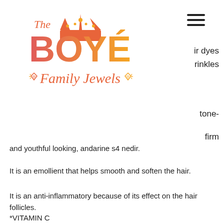[Figure (logo): The Boyé Family Jewels logo with crown and diamond icons, coral/orange color]
ir dyes
rinkles
tone-
firm and youthful looking, andarine s4 nedir.
It is an emollient that helps smooth and soften the hair.
It is an anti-inflammatory because of its effect on the hair follicles.
*VITAMIN C